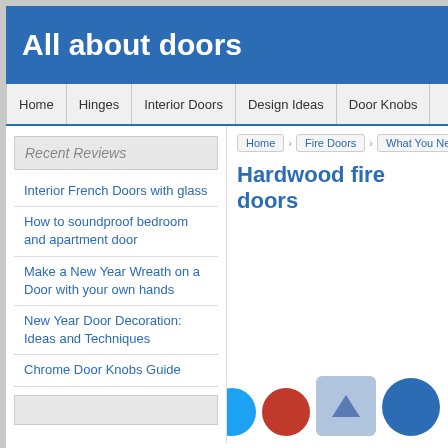All about doors
Home | Hinges | Interior Doors | Design Ideas | Door Knobs
Recent Reviews
Interior French Doors with glass
How to soundproof bedroom and apartment door
Make a New Year Wreath on a Door with your own hands
New Year Door Decoration: Ideas and Techniques
Chrome Door Knobs Guide
Home > Fire Doors > What You Nee...
Hardwood fire doors
[Figure (other): Social sharing icons: Facebook (dark blue circle), Twitter (cyan circle), Google+ (red circle), Pinterest (blue circle), and a share/upload icon (light blue rounded square with upward arrow)]